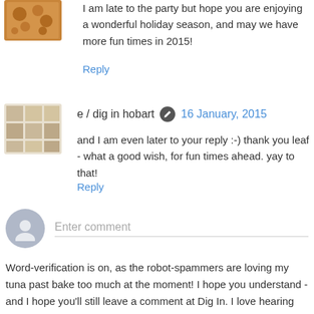I am late to the party but hope you are enjoying a wonderful holiday season, and may we have more fun times in 2015!
Reply
e / dig in hobart  16 January, 2015
and I am even later to your reply :-) thank you leaf - what a good wish, for fun times ahead. yay to that!
Reply
Enter comment
Word-verification is on, as the robot-spammers are loving my tuna past bake too much at the moment! I hope you understand - and I hope you'll still leave a comment at Dig In. I love hearing your thoughts, knowing someone is reading, and will always reply. Unless you're a robot-spammer.